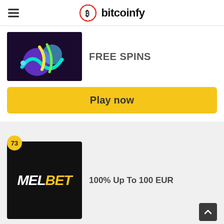bitcoinfy
[Figure (screenshot): Casino thumbnail with dark purple background and colorful abstract shapes]
FREE SPINS
Play now
73
[Figure (logo): MELBET logo on black background - white MEL and yellow BET in bold italic]
100% Up To 100 EUR